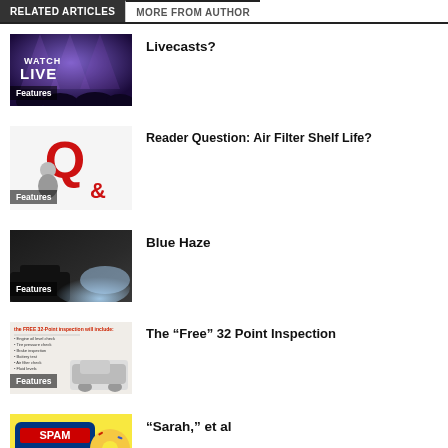RELATED ARTICLES | MORE FROM AUTHOR
[Figure (photo): Watch Live event broadcast thumbnail with purple stage lighting and crowd silhouette, Features label]
Livecasts?
[Figure (photo): Q&A red letters graphic on white background, Features label]
Reader Question: Air Filter Shelf Life?
[Figure (photo): Blue haze from car exhaust, close-up photo, Features label]
Blue Haze
[Figure (photo): Free 32-Point Inspection checklist flyer with car graphic, Features label]
The “Free” 32 Point Inspection
[Figure (photo): SPAM can logo on donut or pastry background, partially visible]
“Sarah,” et al